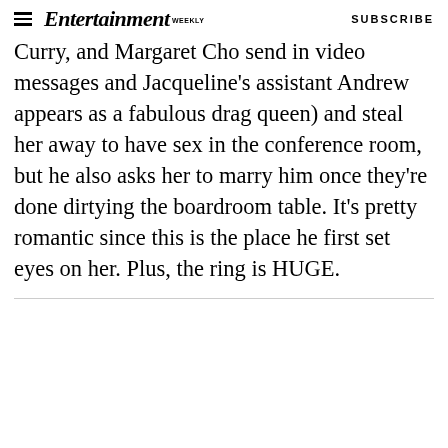Entertainment Weekly | SUBSCRIBE
Curry, and Margaret Cho send in video messages and Jacqueline's assistant Andrew appears as a fabulous drag queen) and steal her away to have sex in the conference room, but he also asks her to marry him once they're done dirtying the boardroom table. It's pretty romantic since this is the place he first set eyes on her. Plus, the ring is HUGE.